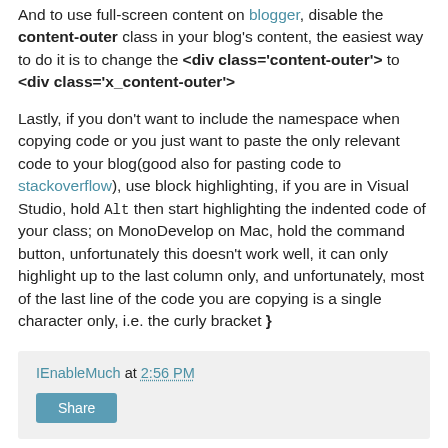And to use full-screen content on blogger, disable the content-outer class in your blog's content, the easiest way to do it is to change the <div class='content-outer'> to <div class='x_content-outer'>
Lastly, if you don't want to include the namespace when copying code or you just want to paste the only relevant code to your blog(good also for pasting code to stackoverflow), use block highlighting, if you are in Visual Studio, hold Alt then start highlighting the indented code of your class; on MonoDevelop on Mac, hold the command button, unfortunately this doesn't work well, it can only highlight up to the last column only, and unfortunately, most of the last line of the code you are copying is a single character only, i.e. the curly bracket }
IEnableMuch at 2:56 PM
Share
No comments: